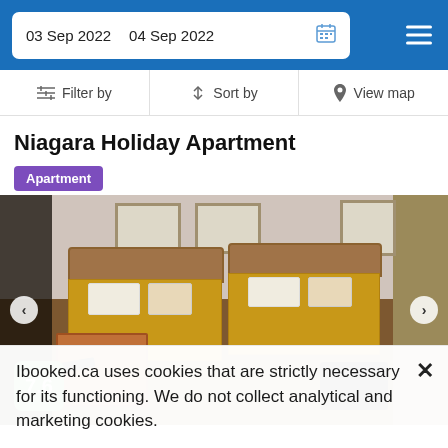03 Sep 2022   04 Sep 2022
Filter by   Sort by   View map
Niagara Holiday Apartment
Apartment
[Figure (photo): Hotel room interior showing two beds with golden/amber bedspreads and wooden headboards, nightstand with remote, dark sofa in corner, score badge showing 7.6]
Ibooked.ca uses cookies that are strictly necessary for its functioning. We do not collect analytical and marketing cookies.